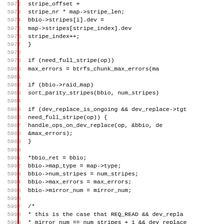[Figure (screenshot): Source code listing in a monospace font showing C code lines 5972-6003, with line numbers on the left and a red vertical bar separator. Code relates to btrfs stripe/bbio operations.]